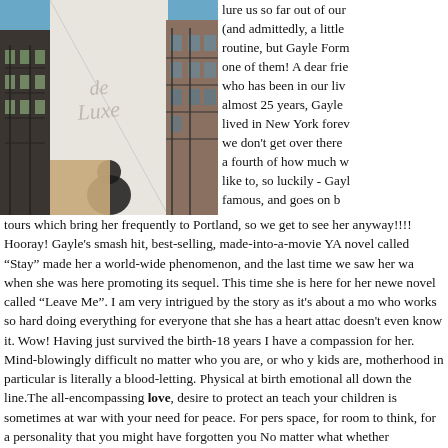[Figure (photo): Street-level photo looking up at buildings in an urban setting. A white building facade with cursive 'de Luxe' text is prominently visible in the center. Surrounding buildings have fire escapes and brick facades. Blue sky is visible in the upper portion.]
lure us so far out of our (and admittedly, a little routine, but Gayle Form one of them! A dear frie who has been in our liv almost 25 years, Gayle lived in New York forev we don't get over there a fourth of how much w like to, so luckily - Gayl famous, and goes on b tours which bring her frequently to Portland, so we get to see her anyway!!!! Hooray! Gayle's smash hit, best-selling, made-into-a-movie YA novel called Stay" made her a world-wide phenomenon, and the last time we saw her wa when she was here promoting its sequel. This time she is here for her newe novel called "Leave Me". I am very intrigued by the story as it's about a mo who works so hard doing everything for everyone that she has a heart attac doesn't even know it. Wow! Having just survived the birth-18 years I have a compassion for her. Mind-blowingly difficult no matter who you are, or who y kids are, motherhood in particular is literally a blood-letting. Physical at birth emotional all down the line.The all-encompassing love, desire to protect an teach your children is sometimes at war with your need for peace. For pers space, for room to think, for a personality that you might have forgotten you No matter what whether motherhood is bliss or hellunching, whether it's the